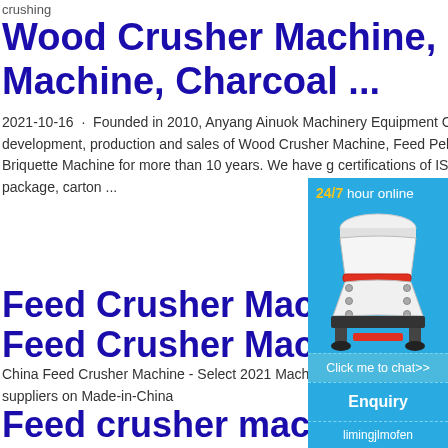crushing
Wood Crusher Machine, Feed Pellet Machine, Charcoal ...
2021-10-16 · Founded in 2010, Anyang Ainuok Machinery Equipment Co., Ltd is specialised in the research, development, production and sales of Wood Crusher Machine, Feed Pellet Machine, Charcoal Machine and Briquette Machine for more than 10 years. We have certifications of ISO9001, SGS, and CE etc. logo, design, package, carton ...
Feed Crusher Machine
Feed Crusher Machine
China Feed Crusher Machine - Select 2021 Machine products from verified China Feed manufacturers, suppliers on Made-in-China
Feed crusher machine Manufacturers & Suppl
[Figure (illustration): Floating sidebar widget showing a cone crusher machine image with '24/7 hour online' text, 'Click me to chat>>' button, 'Enquiry' button, and 'limingjlmofen' text at bottom, all on a blue background.]